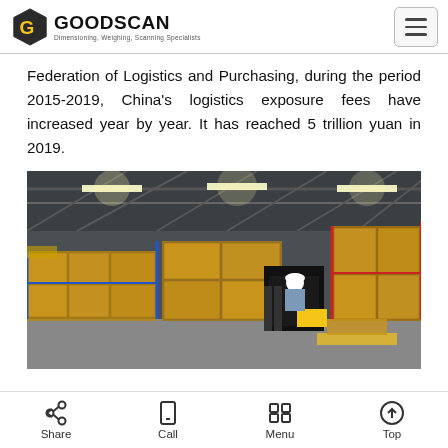GOODSCAN — Dimensioning, Weighing, Scanning Specialists
Federation of Logistics and Purchasing, during the period 2015-2019, China's logistics exposure fees have increased year by year. It has reached 5 trillion yuan in 2019.
[Figure (photo): Interior of a large warehouse with tall shelving stacked with cardboard boxes. A forklift operated by a worker in a white hard hat is visible in the center-right area. The warehouse has high ceilings with skylights and fluorescent lighting.]
Share  Call  Menu  Top